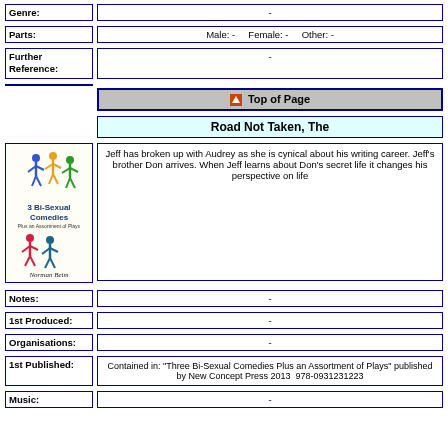| Field | Value |
| --- | --- |
| Genre: | - |
| Field | Value |
| --- | --- |
| Parts: | Male: -   Female: -   Other: - |
| Field | Value |
| --- | --- |
| Further Reference: | - |
Top of Page
Road Not Taken, The
[Figure (illustration): Book cover of '3 Bi-Sexual Comedies Plus an Assortment of Plays' by Norman Beim showing colorful dancing figures]
Jeff has broken up with Audrey as she is cynical about his writing career. Jeff's brother Don arrives. When Jeff learns about Don's secret life it changes his perspective on life
| Field | Value |
| --- | --- |
| Notes: | - |
| Field | Value |
| --- | --- |
| 1st Produced: | - |
| Field | Value |
| --- | --- |
| Organisations: | - |
| Field | Value |
| --- | --- |
| 1st Published: | Contained in: "Three Bi-Sexual Comedies Plus an Assortment of Plays" published by New Concept Press 2013  978-0931231223 |
| Field | Value |
| --- | --- |
| Music: | - |